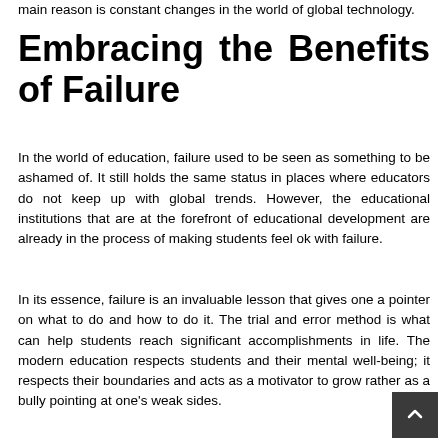main reason is constant changes in the world of global technology.
Embracing the Benefits of Failure
In the world of education, failure used to be seen as something to be ashamed of. It still holds the same status in places where educators do not keep up with global trends. However, the educational institutions that are at the forefront of educational development are already in the process of making students feel ok with failure.
In its essence, failure is an invaluable lesson that gives one a pointer on what to do and how to do it. The trial and error method is what can help students reach significant accomplishments in life. The modern education respects students and their mental well-being; it respects their boundaries and acts as a motivator to grow rather as a bully pointing at one's weak sides.